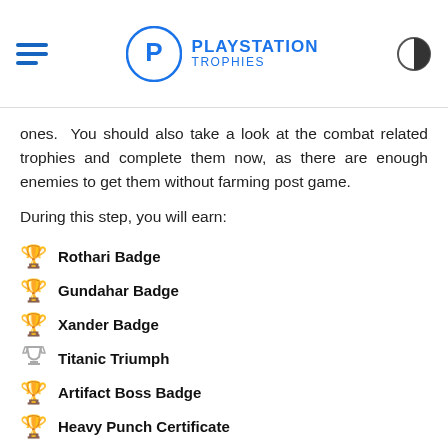PLAYSTATION TROPHIES
ones. You should also take a look at the combat related trophies and complete them now, as there are enough enemies to get them without farming post game.
During this step, you will earn:
Rothari Badge
Gundahar Badge
Xander Badge
Titanic Triumph
Artifact Boss Badge
Heavy Punch Certificate
Hook Shot Certificate
Boomerang Certificate
Ultimate Move Certificate
Marathon Runner
Treasure Hunter